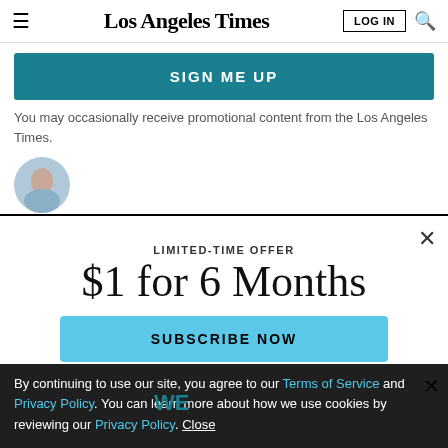Los Angeles Times | LOG IN | Search
SIGN ME UP
You may occasionally receive promotional content from the Los Angeles Times.
[Figure (illustration): Partial author avatar circle in blue-grey]
LIMITED-TIME OFFER
$1 for 6 Months
SUBSCRIBE NOW
By continuing to use our site, you agree to our Terms of Service and Privacy Policy. You can learn more about how we use cookies by reviewing our Privacy Policy. Close